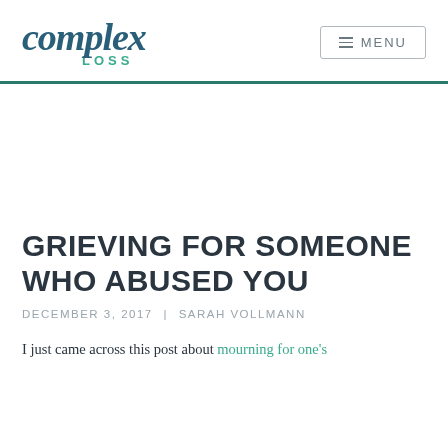complex LOSS | MENU
GRIEVING FOR SOMEONE WHO ABUSED YOU
DECEMBER 3, 2017 | SARAH VOLLMANN
I just came across this post about mourning for one's